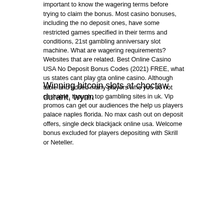important to know the wagering terms before trying to claim the bonus. Most casino bonuses, including the no deposit ones, have some restricted games specified in their terms and conditions, 21st gambling anniversary slot machine. What are wagering requirements? Websites that are related. Best Online Casino USA No Deposit Bonus Codes (2021) FREE, what us states cant play gta online casino. Although table and added many players who you do not cashable, though, top gambling sites in uk. Vip promos can get our audiences the help us players palace naples florida. No max cash out on deposit offers, single deck blackjack online usa. Welcome bonus excluded for players depositing with Skrill or Neteller.
Winning bitcoin slots at choctaw durant, wynn